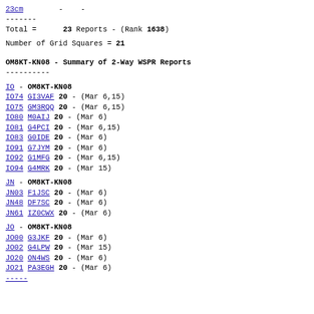23cm        -    -
-------
Total =      23 Reports - (Rank 1638)
Number of Grid Squares = 21
OM8KT-KN08 - Summary of 2-Way WSPR Reports
----------
IO - OM8KT-KN08
IO74 GI3VAF 20 - (Mar 6,15)
IO75 GM3RQQ 20 - (Mar 6,15)
IO80 M0AIJ 20 - (Mar 6)
IO81 G4PCI 20 - (Mar 6,15)
IO83 G0IDE 20 - (Mar 6)
IO91 G7JYM 20 - (Mar 6)
IO92 G1MFG 20 - (Mar 6,15)
IO94 G4MRK 20 - (Mar 15)
JN - OM8KT-KN08
JN03 F1JSC 20 - (Mar 6)
JN48 DF7SC 20 - (Mar 6)
JN61 IZ0CWX 20 - (Mar 6)
JO - OM8KT-KN08
JO00 G3JKF 20 - (Mar 6)
JO02 G4LPW 20 - (Mar 15)
JO20 ON4WS 20 - (Mar 6)
JO21 PA3EGH 20 - (Mar 6)